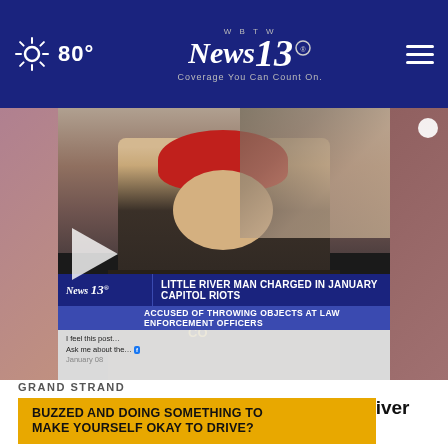80° | WBTW News 13 | Coverage You Can Count On. | [hamburger menu]
[Figure (screenshot): Video thumbnail screenshot showing a man wearing a red beanie hat in a crowd. Lower third graphic reads 'LITTLE RIVER MAN CHARGED IN JANUARY CAPITOL RIOTS / ACCUSED OF THROWING OBJECTS AT LAW ENFORCEMENT OFFICERS' with News 13 logo. Play button visible on left side.]
GRAND STRAND
'He’s a patriot': Grandparents of Little River man charged in Capitol riot contacted by FBI age
BUZZED AND DOING SOMETHING TO MAKE YOURSELF OKAY TO DRIVE?